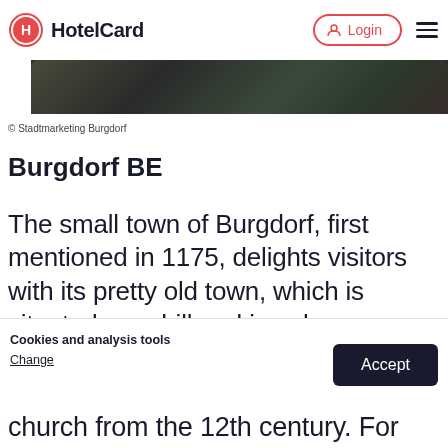HotelCard — Login
[Figure (photo): Partial bottom edge of a dark outdoor photo of Burgdorf]
© Stadtmarketing Burgdorf
Burgdorf BE
The small town of Burgdorf, first mentioned in 1175, delights visitors with its pretty old town, which is situated on a hill and is only surmounted bu the castle that gives it
Cookies and analysis tools
Change
Accept
church from the 12th century. For